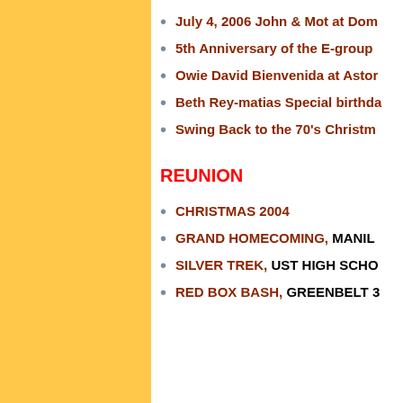July 4, 2006 John & Mot at Dom…
5th Anniversary of the E-group…
Owie David Bienvenida at Astor…
Beth Rey-matias Special birthda…
Swing Back to the 70's Christm…
REUNION
CHRISTMAS 2004
GRAND HOMECOMING, MANIL…
SILVER TREK, UST HIGH SCHO…
RED BOX BASH, GREENBELT 3…